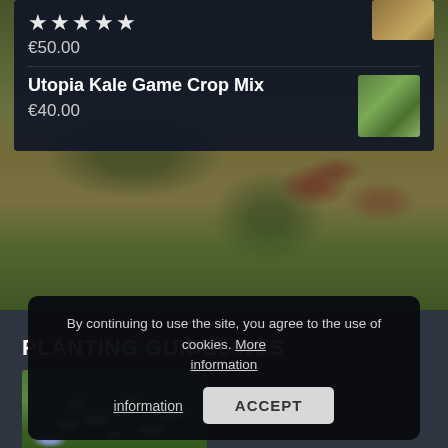[Figure (screenshot): Product listing card showing star rating, price €50.00, and product 'Utopia Kale Game Crop Mix' priced at €40.00 with thumbnail, overlaid on a wildflower field background photo]
★★★★★
€50.00
Utopia Kale Game Crop Mix
€40.00
PLANTING GUIDELINES
[Figure (photo): Photo of wildflowers including white daisies and yellow flowers in green foliage]
By continuing to use the site, you agree to the use of cookies. More information
ACCEPT